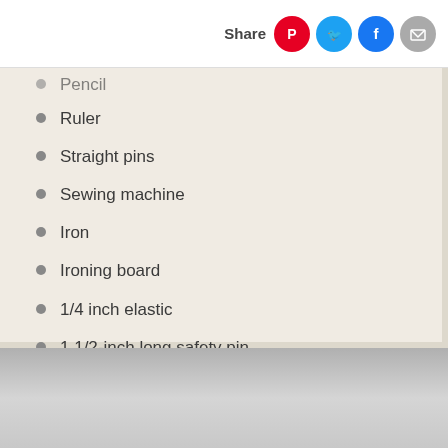Share
Pencil
Ruler
Straight pins
Sewing machine
Iron
Ironing board
1/4 inch elastic
1 1/2-inch long safety pin